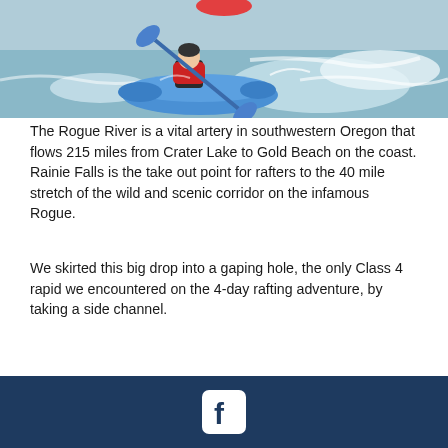[Figure (photo): Person in a blue inflatable kayak/raft paddling through white water rapids on the Rogue River, wearing a red life vest and black wetsuit, using a blue paddle.]
The Rogue River is a vital artery in southwestern Oregon that flows 215 miles from Crater Lake to Gold Beach on the coast. Rainie Falls is the take out point for rafters to the 40 mile stretch of the wild and scenic corridor on the infamous Rogue.
We skirted this big drop into a gaping hole, the only Class 4 rapid we encountered on the 4-day rafting adventure, by taking a side channel.
Facebook icon